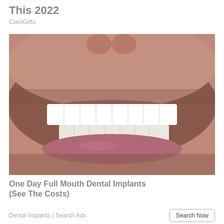This 2022
CoolGifts
[Figure (photo): Close-up photo of a man's smile showing bright white dental implants/veneers, with stubble beard visible]
One Day Full Mouth Dental Implants (See The Costs)
Dental Implants | Search Ads
Search Now
[Figure (photo): Partial photo of wooden surface, bottom of page (cropped)]